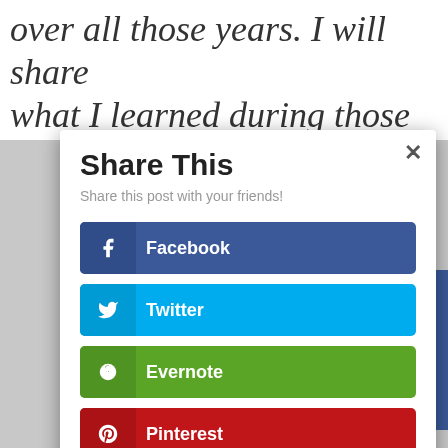over all those years. I will share what I learned during those
Share This
Share this post with your friends!
Facebook
Twitter
Evernote
Pinterest
Myspace
Blogger